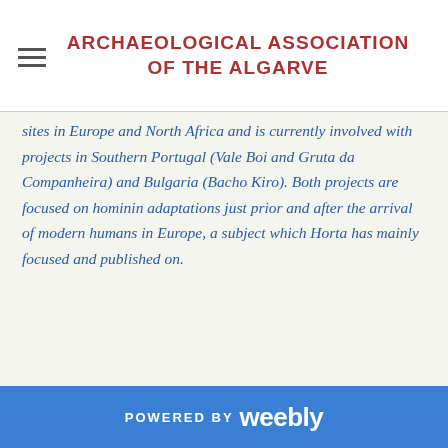Archaeological Association of the Algarve
sites in Europe and North Africa and is currently involved with projects in Southern Portugal (Vale Boi and Gruta da Companheira) and Bulgaria (Bacho Kiro). Both projects are focused on hominin adaptations just prior and after the arrival of modern humans in Europe, a subject which Horta has mainly focused and published on.
POWERED BY weebly